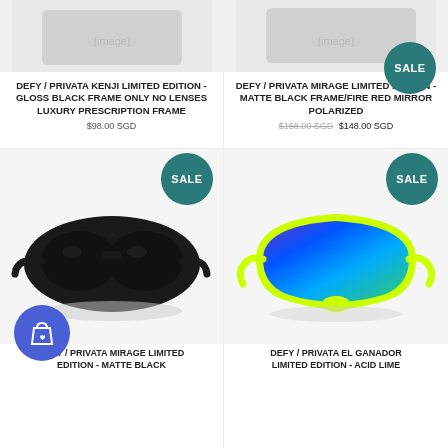[Figure (photo): Top-left product image area (partially visible, cropped at top) for Defy Privata Kenji Limited Edition glasses]
DEFY / PRIVATA KENJI LIMITED EDITION - GLOSS BLACK FRAME ONLY NO LENSES LUXURY PRESCRIPTION FRAME
$98.00 SGD
[Figure (photo): Top-right product image area (partially visible, cropped at top) for Defy Privata Mirage Limited Edition glasses - SALE]
DEFY / PRIVATA MIRAGE LIMITED EDITION - MATTE BLACK FRAME/FIRE RED MIRROR POLARIZED
$168.00 SGD $148.00 SGD
[Figure (photo): Bottom-left product image: black wraparound sunglasses on white background - SALE badge visible]
DEFY / PRIVATA MIRAGE LIMITED EDITION - MATTE BLACK
[Figure (photo): Bottom-right product image: neon yellow/green frame shield sunglasses with blue/purple mirror lens - SALE badge visible]
DEFY / PRIVATA EL GANADOR LIMITED EDITION - ACID LIME